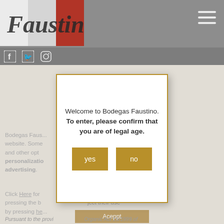[Figure (screenshot): Website header with Faustino logo (blackletter font over French flag colors), hamburger menu icon, and social media icons (Facebook, Twitter, Instagram) on grey bar]
Bodegas Faus... cookies on this website. Some... of the page, and other opt... ies, b) enable personalizatio... lized advertising.
Click Here for... ookies by pressing the b... ject their use by pressing he...
Aceppt
Pursuant to the provi... Organic Act 15/1999 of
[Figure (screenshot): Age verification modal dialog for Bodegas Faustino website with yes and no buttons]
Welcome to Bodegas Faustino.
To enter, please confirm that you are of legal age.